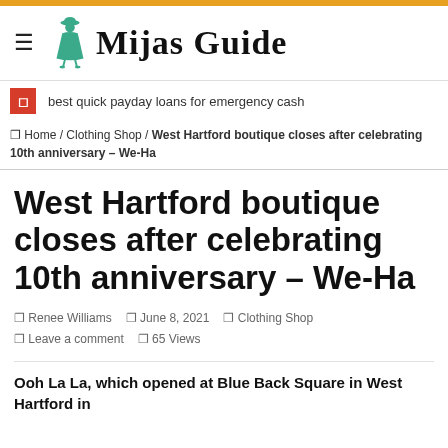Mijas Guide
best quick payday loans for emergency cash
Home / Clothing Shop / West Hartford boutique closes after celebrating 10th anniversary – We-Ha
West Hartford boutique closes after celebrating 10th anniversary – We-Ha
Renee Williams   June 8, 2021   Clothing Shop   Leave a comment   65 Views
Ooh La La, which opened at Blue Back Square in West Hartford in